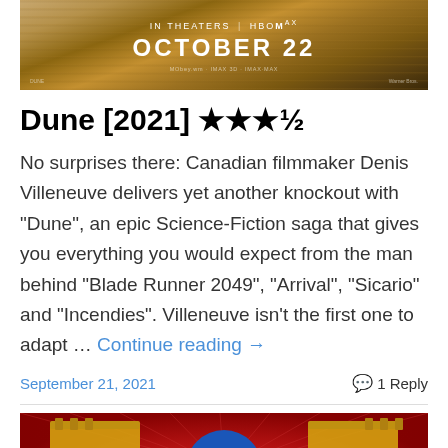[Figure (photo): Dune movie promotional banner showing 'IN THEATERS | HBO MAX' and 'OCTOBER 22' text on a sandy/desert textured background]
Dune [2021] ★★★½
No surprises there: Canadian filmmaker Denis Villeneuve delivers yet another knockout with "Dune", an epic Science-Fiction saga that gives you everything you would expect from the man behind "Blade Runner 2049", "Arrival", "Sicario" and "Incendies". Villeneuve isn't the first one to adapt … Continue reading →
September 21, 2021
💬 1 Reply
[Figure (photo): James Gunn film poster with two golden guns on a red and blue background with 'A JAMES GUNN FILM' text]